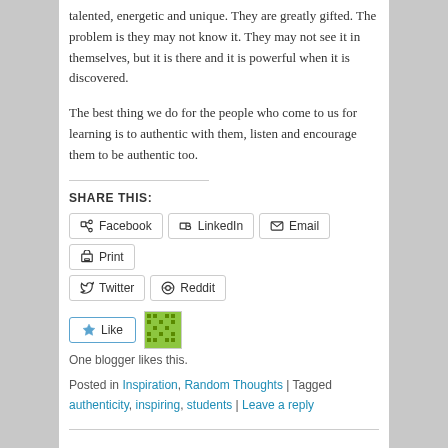talented, energetic and unique. They are greatly gifted. The problem is they may not know it. They may not see it in themselves, but it is there and it is powerful when it is discovered.
The best thing we do for the people who come to us for learning is to authentic with them, listen and encourage them to be authentic too.
SHARE THIS:
Facebook LinkedIn Email Print Twitter Reddit
Like | One blogger likes this.
Posted in Inspiration, Random Thoughts | Tagged authenticity, inspiring, students | Leave a reply